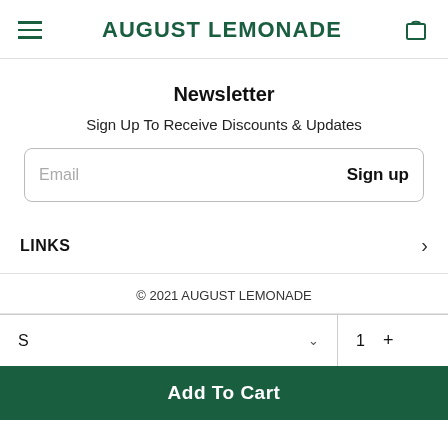AUGUST LEMONADE
Newsletter
Sign Up To Receive Discounts & Updates
Email   Sign up
LINKS
© 2021 AUGUST LEMONADE
S  ∨   1  +
Add To Cart